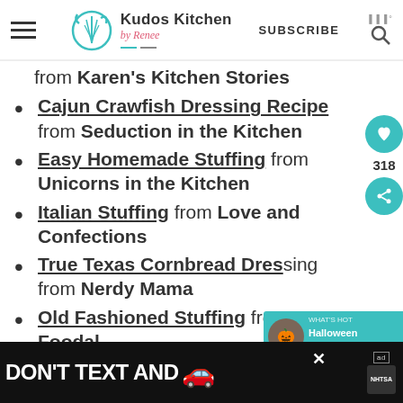Kudos Kitchen by Renee — SUBSCRIBE
from Karen's Kitchen Stories
Cajun Crawfish Dressing Recipe from Seduction in the Kitchen
Easy Homemade Stuffing from Unicorns in the Kitchen
Italian Stuffing from Love and Confections
True Texas Cornbread Dressing from Nerdy Mama
Old Fashioned Stuffing from Foodal
[Figure (other): Advertisement banner: DON'T TEXT AND [car emoji] with NHTSA logo]
[Figure (other): Halloween Recipes popup with circular thumbnail image]